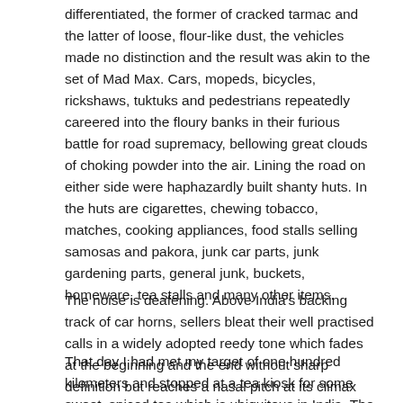differentiated, the former of cracked tarmac and the latter of loose, flour-like dust, the vehicles made no distinction and the result was akin to the set of Mad Max. Cars, mopeds, bicycles, rickshaws, tuktuks and pedestrians repeatedly careered into the floury banks in their furious battle for road supremacy, bellowing great clouds of choking powder into the air. Lining the road on either side were haphazardly built shanty huts. In the huts are cigarettes, chewing tobacco, matches, cooking appliances, food stalls selling samosas and pakora, junk car parts, junk gardening parts, general junk, buckets, homeware, tea stalls and many other items.
The noise is deafening. Above India's backing track of car horns, sellers bleat their well practised calls in a widely adopted reedy tone which fades at the beginning and the end without sharp definition but reaches a nasal pitch at its climax which elicits a wince if you stand too close.
That day I had met my target of one hundred kilometers and stopped at a tea kiosk for some sweet, spiced tea which is ubiquitous in India. The roof of my kiosk was a